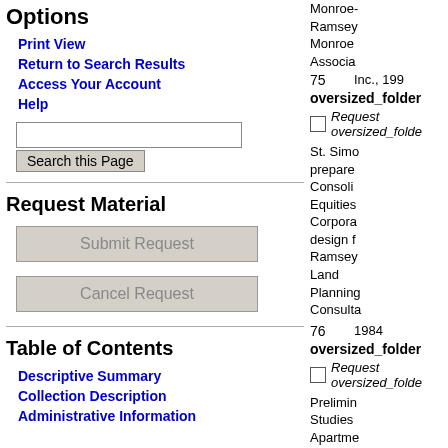Options
Print View
Return to Search Results
Access Your Account
Help
Request Material
Submit Request
Cancel Request
Table of Contents
Descriptive Summary
Collection Description
Administrative Information
Monroe-
Ramsey
Monroe
Associa
75
Inc., 199
oversized_folder
Request oversized_folde
St. Simo
prepare
Consoli
Equities
Corpora
design f
Ramsey
Land
Planning
Consulta
76
1984
oversized_folder
Request oversized_folde
Prelimin
Studies
Apartme
Project
design f
W l